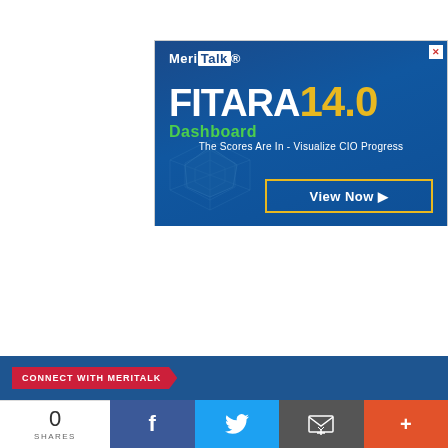[Figure (infographic): MeriTalk advertisement banner for FITARA Dashboard 14.0. Dark blue background with MeriTalk logo top left, 'FITARA' in large white bold text, '14.0' in large gold/yellow bold text, 'Dashboard' in green text below FITARA, tagline 'The Scores Are In - Visualize CIO Progress', a faint radar/web chart on the left side, and a 'View Now ▶' button with gold border on the right side. X close button in top right corner.]
CONNECT WITH MERITALK
0 SHARES